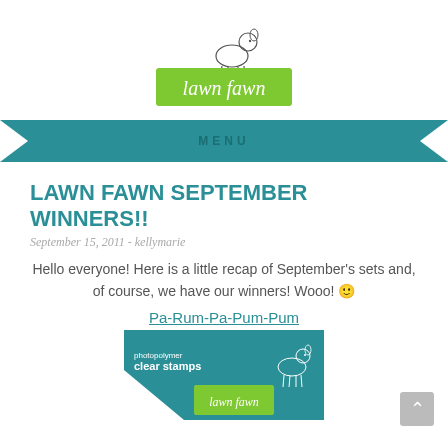[Figure (logo): Lawn Fawn logo with a small deer illustration above a green rectangle with cursive 'lawn fawn' text]
MENU
LAWN FAWN SEPTEMBER WINNERS!!
September 15, 2011 - kellymarie
Hello everyone! Here is a little recap of September's sets and, of course, we have our winners! Wooo! 🙂
Pa-Rum-Pa-Pum-Pum
[Figure (photo): Lawn Fawn photopolymer clear stamps product package with teal background, deer illustration, and green lawn fawn logo]